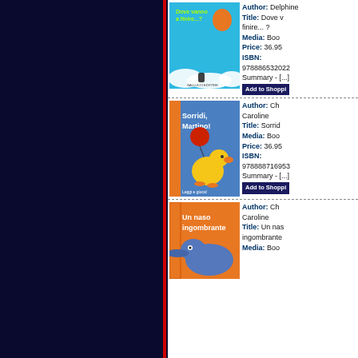[Figure (illustration): Book cover: Dove vanno a finire...? - blue sky with orange balloon and bird]
Author: Delphine
Title: Dove vanno a finire... ?
Media: Book
Price: 36.95
ISBN: 9788865320228
Summary - [...]
Add to Shopping Cart
[Figure (illustration): Book cover: Sorridi, Martino! - yellow duck holding red balloon on blue background]
Author: Caroline
Title: Sorridi...
Media: Book
Price: 36.95
ISBN: 9788887169539
Summary - [...]
Add to Shopping Cart
[Figure (illustration): Book cover: Un naso ingombrante - blue bird on orange background]
Author: Caroline
Title: Un naso ingombrante
Media: Book